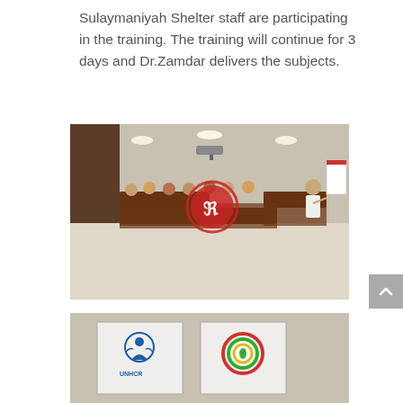Sulaymaniyah Shelter staff are participating in the training. The training will continue for 3 days and Dr.Zamdar delivers the subjects.
[Figure (photo): A training session in a conference room with participants seated around a U-shaped table arrangement. A presenter in a white suit stands at the right near a flipchart/whiteboard. A red circular logo watermark is visible in the center of the image.]
[Figure (photo): A partial view of banners/rollup stands showing the UNHCR logo and another organization's circular logo with a leaf/olive branch design.]